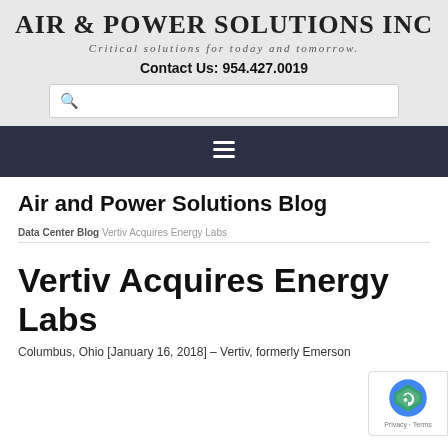AIR & POWER SOLUTIONS INC
Critical solutions for today and tomorrow.
Contact Us: 954.427.0019
Air and Power Solutions Blog
Data Center Blog Vertiv Acquires Energy Labs
Vertiv Acquires Energy Labs
Columbus, Ohio [January 16, 2018] – Vertiv, formerly Emerson